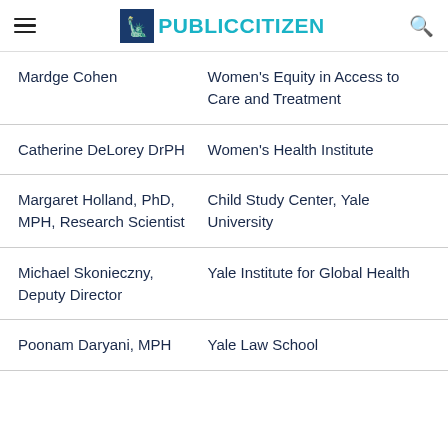PUBLIC CITIZEN
| Name | Organization |
| --- | --- |
| Mardge Cohen | Women's Equity in Access to Care and Treatment |
| Catherine DeLorey DrPH | Women's Health Institute |
| Margaret Holland, PhD, MPH, Research Scientist | Child Study Center, Yale University |
| Michael Skonieczny, Deputy Director | Yale Institute for Global Health |
| Poonam Daryani, MPH | Yale Law School |